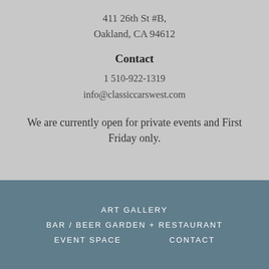411 26th St #B,
Oakland, CA 94612
Contact
1 510-922-1319
info@classiccarswest.com
We are currently open for private events and First Friday only.
ART GALLERY
BAR / BEER GARDEN + RESTAURANT
EVENT SPACE
CONTACT